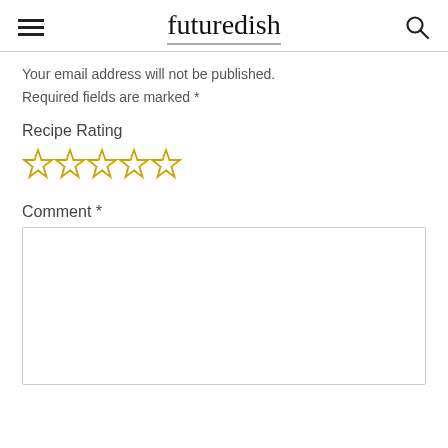futuredish
Your email address will not be published. Required fields are marked *
Recipe Rating
[Figure (other): Five empty star rating icons in yellow/gold outline]
Comment *